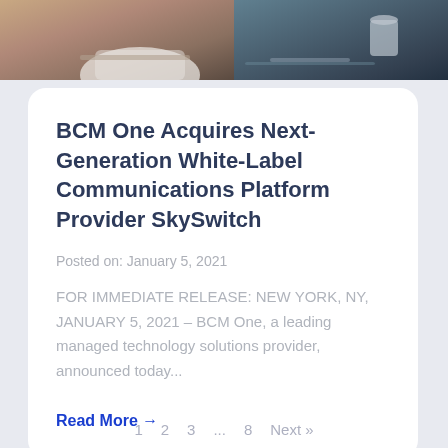[Figure (photo): Two-panel photo strip at top: left panel shows a person in white shirt leaning over a laptop, right panel shows a desk/office scene with a mug and items]
BCM One Acquires Next-Generation White-Label Communications Platform Provider SkySwitch
Posted on: January 5, 2021
FOR IMMEDIATE RELEASE: NEW YORK, NY, JANUARY 5, 2021 – BCM One, a leading managed technology solutions provider, announced today...
Read More →
1  2  3  ...  8  Next »